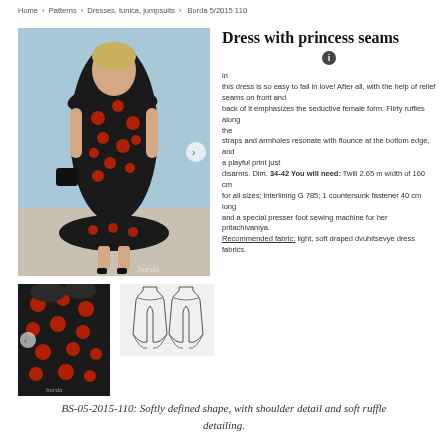Home › Patterns › Dresses, tunica, jumpsuits › Burda 5/2015 110
[Figure (photo): Model wearing a black and red floral print dress with princess seams and ruffle details at shoulders and hem]
Dress with princess seams
In this dress is so easy to fall in love! After all, with the help of relief seams on front and back of it emphasizes the seductive female form. Flirty ruffles along the straps and armholes resonate with flounce at the bottom edge, and a playful print just disarms. Dim. 34-42 You will need: Twill 2.65 m width of 160 cm for all sizes; interlining G 785; 1 countersunk fastener 40 cm long and a special presser foot sewing machine for her pritachivaniya. Recommended fabric: light, soft draped dvuhitsevye dress fabrics.
[Figure (photo): Close-up thumbnail of dress fabric with red floral print on black background]
[Figure (illustration): Technical sewing pattern illustration showing front and back views of the dress]
BS-05-2015-110: Softly defined shape, with shoulder detail and soft ruffle detailing.